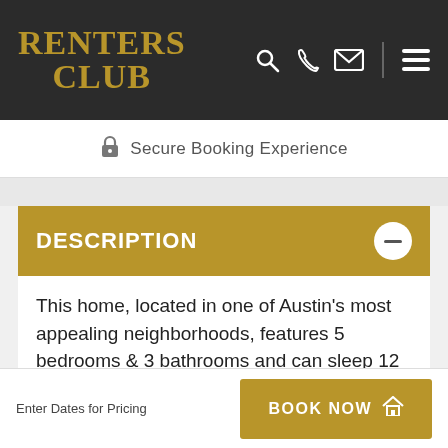RENTERS CLUB
Secure Booking Experience
DESCRIPTION
This home, located in one of Austin's most appealing neighborhoods, features 5 bedrooms & 3 bathrooms and can sleep 12 guests. A fully updated kitchen as well as an enormous open concept formal living area set this property apart from the rest. Opulent furnishings add...
Enter Dates for Pricing
BOOK NOW